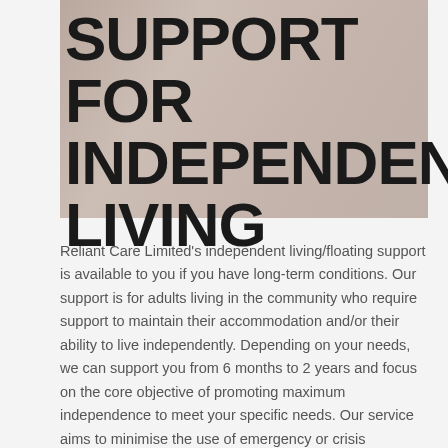[Figure (photo): Background photo of people, partially visible, muted warm tones, with large bold title text overlaid reading SUPPORT FOR INDEPENDENT LIVING]
SUPPORT FOR INDEPENDENT LIVING
Reliant Care Limited's independent living/floating support is available to you if you have long-term conditions. Our support is for adults living in the community who require support to maintain their accommodation and/or their ability to live independently. Depending on your needs, we can support you from 6 months to 2 years and focus on the core objective of promoting maximum independence to meet your specific needs. Our service aims to minimise the use of emergency or crisis accommodation whilst encouraging independence and social inclusion. The service also supports you to access education, training and